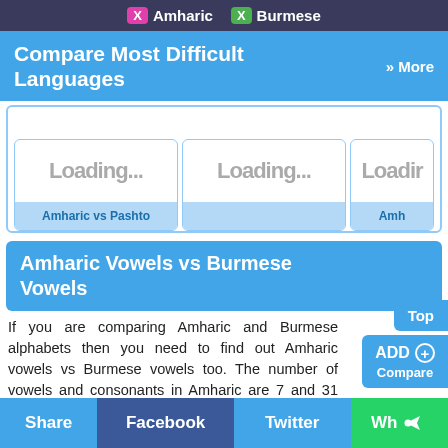X Amharic  X Burmese
Compare Most Difficult Languages  » More
[Figure (screenshot): Three loading card thumbnails with labels. Card 1 and 2 together show 'Amharic vs Pashto', Card 3 partially visible shows 'Amh...']
Amharic Vowels vs Burmese Vowels
If you are comparing Amharic and Burmese alphabets then you need to find out Amharic vowels vs Burmese vowels too. The number of vowels and consonants in Amharic are 7 and 31 and number of vowels and consonants in
Share  Facebook  Twitter  Wh<